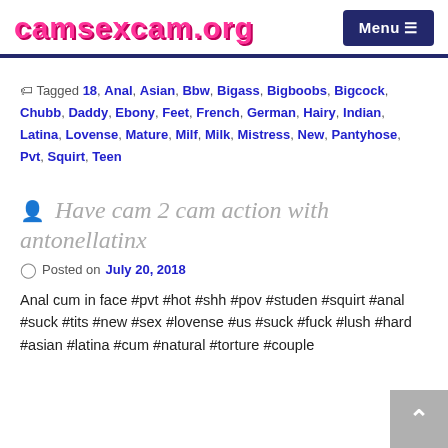camsexcam.org | Menu
Tagged 18, Anal, Asian, Bbw, Bigass, Bigboobs, Bigcock, Chubb, Daddy, Ebony, Feet, French, German, Hairy, Indian, Latina, Lovense, Mature, Milf, Milk, Mistress, New, Pantyhose, Pvt, Squirt, Teen
Have cam 2 cam action with antonellatinx
Posted on July 20, 2018
Anal cum in face #pvt #hot #shh #pov #studen #squirt #anal #suck #tits #new #sex #lovense #us #suck #fuck #lush #hard #asian #latina #cum #natural #torture #couple